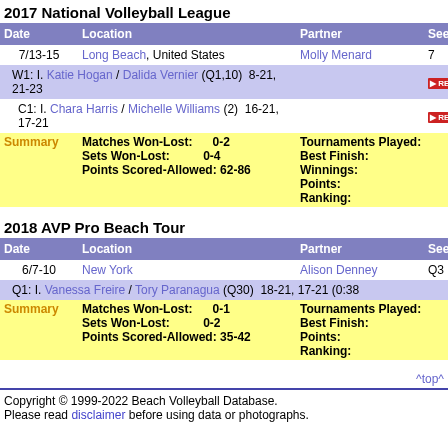2017 National Volleyball League
| Date | Location | Partner | See |
| --- | --- | --- | --- |
| 7/13-15 | Long Beach, United States | Molly Menard | 7 |
| W1: | I. Katie Hogan / Dalida Vernier (Q1,10)  8-21, 21-23 |  | RECAP |
| C1: | I. Chara Harris / Michelle Williams (2)  16-21, 17-21 |  | RECAP |
| Summary | Matches Won-Lost: 0-2  Sets Won-Lost: 0-4  Points Scored-Allowed: 62-86 | Tournaments Played:  Best Finish:  Winnings:  Points:  Ranking: |  |
2018 AVP Pro Beach Tour
| Date | Location | Partner | See |
| --- | --- | --- | --- |
| 6/7-10 | New York | Alison Denney | Q3 |
| Q1: | I. Vanessa Freire / Tory Paranagua (Q30)  18-21, 17-21 (0:38 |  |  |
| Summary | Matches Won-Lost: 0-1  Sets Won-Lost: 0-2  Points Scored-Allowed: 35-42 | Tournaments Played:  Best Finish:  Points:  Ranking: |  |
^top^
Copyright © 1999-2022 Beach Volleyball Database. Please read disclaimer before using data or photographs.